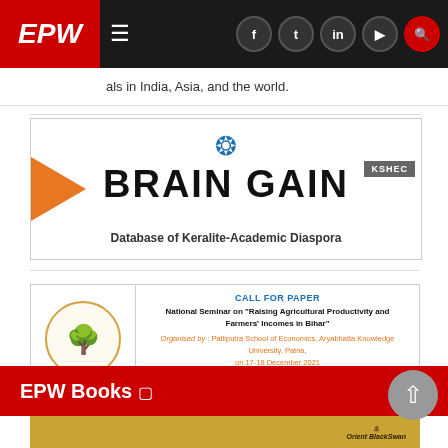EPW — Economic and Political Weekly
als in India, Asia, and the world.
[Figure (illustration): BRAIN GAIN advertisement — Database of Keralite-Academic Diaspora, KSHEC. Features orange arrow on left, blue laurel wreath above title, grey KSHEC badge on right.]
[Figure (illustration): CALL FOR PAPER — National Seminar on 'Raising Agricultural Productivity and Farmers' Incomes in Bihar'. Organised by: Patliputra School of Economics, Aryabhatta Knowledge University, Patna, on 17-18 December 2021. Last date of submission of full paper and abstract shall be 27th November 2021.]
EPW Books ⧉